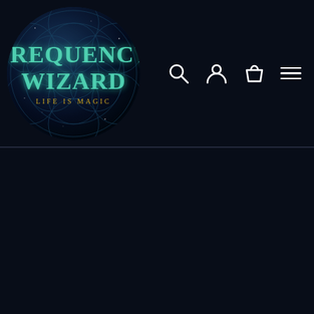[Figure (logo): Frequency Wizard logo — circular badge with sacred geometry (Flower of Life) pattern on a dark blue starry background, with teal/green text reading FREQUENCY WIZARD and gold subtitle LIFE IS MAGIC]
Navigation header with search, account, cart, and menu icons